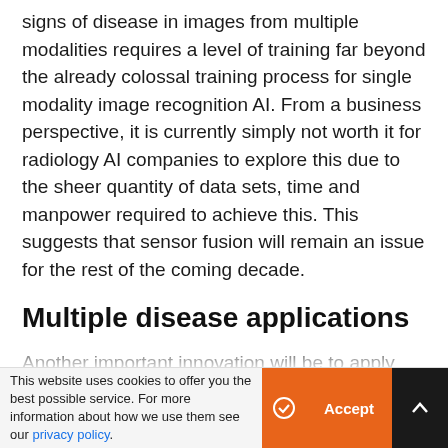signs of disease in images from multiple modalities requires a level of training far beyond the already colossal training process for single modality image recognition AI. From a business perspective, it is currently simply not worth it for radiology AI companies to explore this due to the sheer quantity of data sets, time and manpower required to achieve this. This suggests that sensor fusion will remain an issue for the rest of the coming decade.
Multiple disease applications
Another important innovation will be to apply image recognition AI algorithms to multiple diseases. Currently, many AI-driven analysis tools can only detect a restricted range of pathologies. Their value in radiology practices is hence limited as the algorithms
This website uses cookies to offer you the best possible service. For more information about how we use them see our privacy policy.